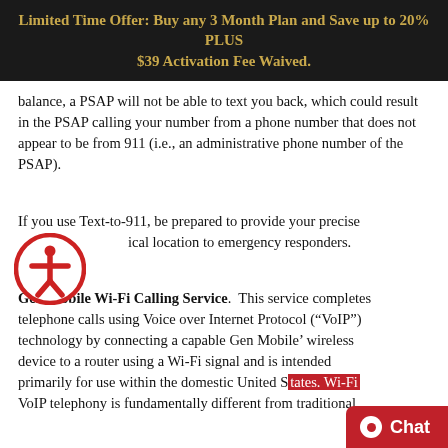Limited Time Offer: Buy any 3 Month Plan and Save up to 20% PLUS $39 Activation Fee Waived.
balance, a PSAP will not be able to text you back, which could result in the PSAP calling your number from a phone number that does not appear to be from 911 (i.e., an administrative phone number of the PSAP).
If you use Text-to-911, be prepared to provide your precise physical location to emergency responders.
5. Gen Mobile Wi-Fi Calling Service. This service completes telephone calls using Voice over Internet Protocol (“VoIP”) technology by connecting a capable Gen Mobile’ wireless device to a router using a Wi-Fi signal and is intended primarily for use within the domestic United States. Wi-Fi VoIP telephony is fundamentally different from traditional